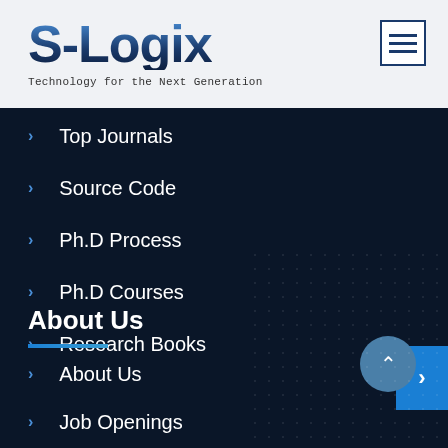[Figure (logo): S-Logix logo with blue gradient text and tagline 'Technology for the Next Generation']
[Figure (other): Hamburger menu icon button with three horizontal lines inside a bordered square]
Top Journals
Source Code
Ph.D Process
Ph.D Courses
Research Books
About Us
About Us
Job Openings